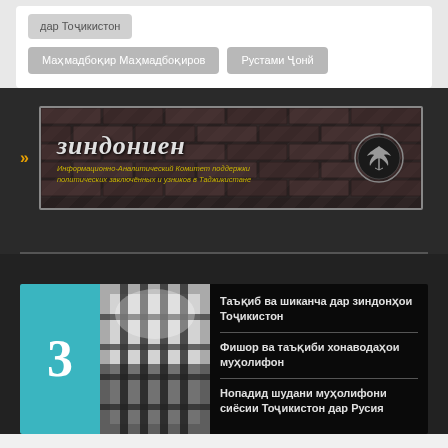дар Тоҷикистон
Маҳмадбоқир Маҳмадбоқиров
Рустами Ҷонй
[Figure (illustration): Banner for Зиндониен - Информационно-аналитический Комитет поддержки политических заключённых и узников в Таджикистане. Dark brick background with logo.]
Таъқиб ва шиканча дар зиндонҳои Тоҷикистон
Фишор ва таъқиби хонаводаҳои муҳолифон
Нопадид шудани муҳолифони сиёсии Тоҷикистон дар Русия